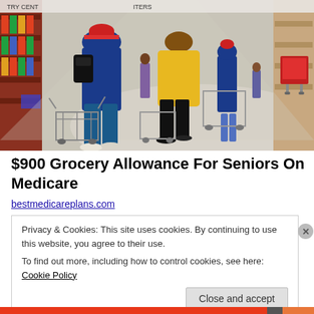[Figure (photo): Shoppers pushing grocery carts in a supermarket aisle. Several people visible from behind, including one in a yellow jacket and one in blue clothing and a red hat. Store shelves line the sides of the aisle.]
$900 Grocery Allowance For Seniors On Medicare
bestmedicareplans.com
Privacy & Cookies: This site uses cookies. By continuing to use this website, you agree to their use.
To find out more, including how to control cookies, see here: Cookie Policy